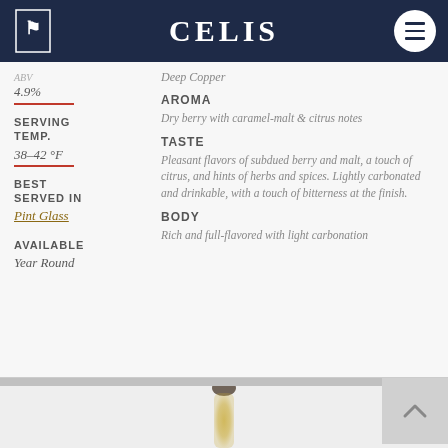CELIS
4.9%
SERVING TEMP.
38–42 °F
BEST SERVED IN
Pint Glass
AVAILABLE
Year Round
Deep Copper
AROMA
Dry berry with caramel-malt & citrus notes
TASTE
Pleasant flavors of subdued berry and malt, a touch of citrus, and hints of herbs and spices. Lightly carbonated and drinkable, with a touch of bitterness at the finish.
BODY
Rich and full-flavored with light carbonation
[Figure (photo): Beer bottle partially visible at the bottom of the page, blurred]